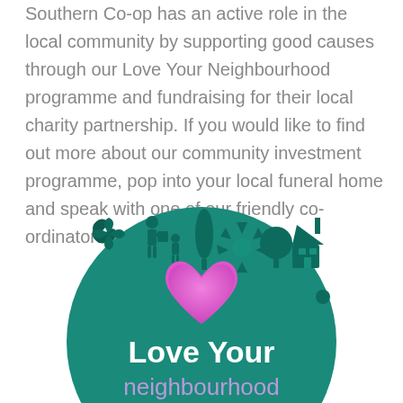Southern Co-op has an active role in the local community by supporting good causes through our Love Your Neighbourhood programme and fundraising for their local charity partnership. If you would like to find out more about our community investment programme, pop into your local funeral home and speak with one of our friendly co-ordinators.
[Figure (logo): Love Your Neighbourhood logo: a teal circle with community icons (people, trees, house, sun) on top and a pink heart in the centre. Text reads 'Love Your neighbourhood' in white and purple.]